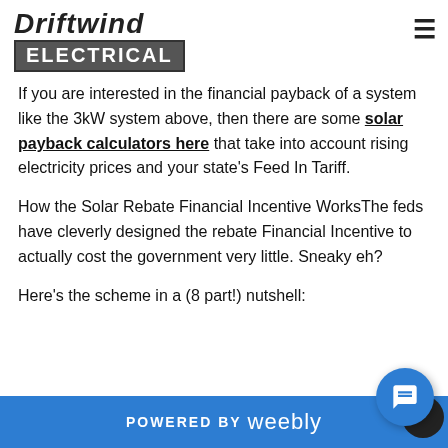Driftwind ELECTRICAL
If you are interested in the financial payback of a system like the 3kW system above, then there are some solar payback calculators here that take into account rising electricity prices and your state's Feed In Tariff.
How the Solar Rebate Financial Incentive WorksThe feds have cleverly designed the rebate Financial Incentive to actually cost the government very little. Sneaky eh?
Here's the scheme in a (8 part!) nutshell:
POWERED BY weebly